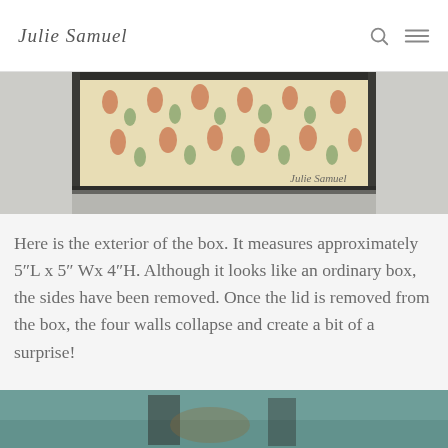Julie Samuel
[Figure (photo): Exterior of a decorative box with floral patterned paper in red and green on a cream background, dark edges, photographed against a light grey background. Artist signature visible in lower right corner.]
Here is the exterior of the box. It measures approximately 5″L x 5″ Wx 4″H. Although it looks like an ordinary box, the sides have been removed. Once the lid is removed from the box, the four walls collapse and create a bit of a surprise!
[Figure (photo): Bottom portion of a second photograph showing what appears to be a teal/turquoise colored scene, partially cropped.]